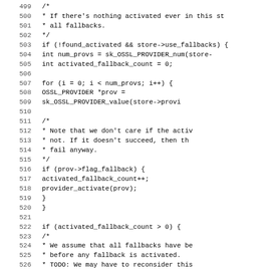[Figure (screenshot): Source code listing showing lines 499-530 of a C program related to OpenSSL provider fallback activation logic]